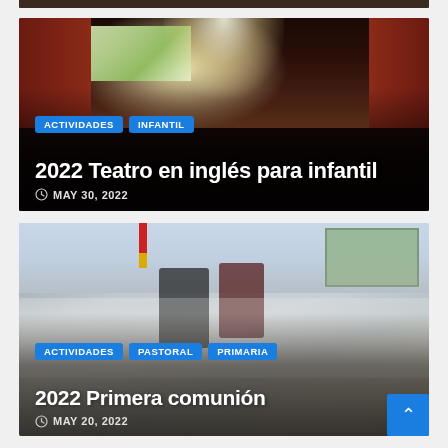[Figure (photo): Partial view of top card image (cropped at top)]
[Figure (photo): Theater scene with stage, screen, performer and audience in a dark auditorium with red walls]
ACTIVIDADES
INFANTIL
2022 Teatro en inglés para infantil
MAY 30, 2022
[Figure (photo): School classroom photo with children and teachers posing for a group photo, wearing white uniforms]
ACTIVIDADES
PASTORAL
PRIMARIA
2022 Primera comunión
MAY 20, 2022